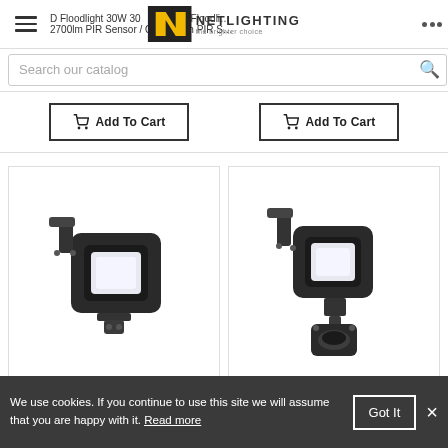LED Floodlight 30W 3000lm PIR Sensor / Outdoor | LED Floodlight 50W 3000lm PIR Sensor / Outdoor
[Figure (logo): Netlighting logo with yellow N on black background and tagline 'the brighter choice']
Search our catalog
Add To Cart (x2 buttons)
[Figure (photo): Black LED floodlight without sensor, compact square housing with mounting bracket]
[Figure (photo): Black LED floodlight with PIR motion sensor attached below, compact square housing with mounting bracket]
We use cookies. If you continue to use this site we will assume that you are happy with it. Read more